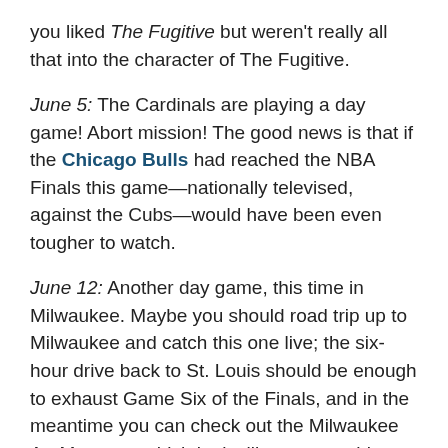you liked The Fugitive but weren't really all that into the character of The Fugitive.
June 5: The Cardinals are playing a day game! Abort mission! The good news is that if the Chicago Bulls had reached the NBA Finals this game—nationally televised, against the Cubs—would have been even tougher to watch.
June 12: Another day game, this time in Milwaukee. Maybe you should road trip up to Milwaukee and catch this one live; the six-hour drive back to St. Louis should be enough to exhaust Game Six of the Finals, and in the meantime you can check out the Milwaukee Art Museum, which looks like a spaceship from the first version of TRON.